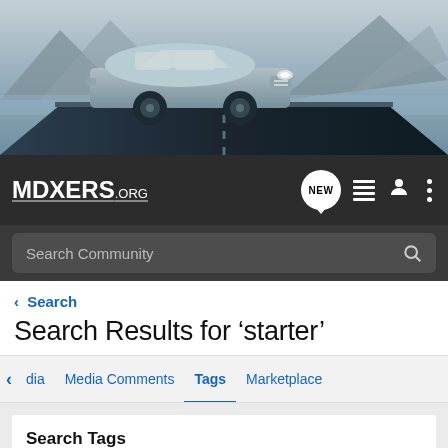[Figure (screenshot): Hero image of an Acura MDX SUV driving on a road with mountain and water background]
MDXERS.ORG navigation bar with logo, NEW message badge, list icon, user icon, and menu icon
Search Community (search bar)
< Search
Search Results for ‘starter’
dia | Media Comments | Tags | Marketplace (navigation tabs, Tags active)
Search Tags
starter (tag search input with Search button)